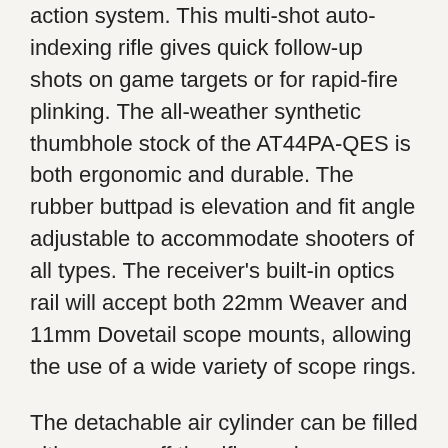action system. This multi-shot auto-indexing rifle gives quick follow-up shots on game targets or for rapid-fire plinking. The all-weather synthetic thumbhole stock of the AT44PA-QES is both ergonomic and durable. The rubber buttpad is elevation and fit angle adjustable to accommodate shooters of all types. The receiver's built-in optics rail will accept both 22mm Weaver and 11mm Dovetail scope mounts, allowing the use of a wide variety of scope rings.
The detachable air cylinder can be filled either on or off the rifle, and spares can be interchanged for extended shooting sessions without the downtime of filling. A color-coded pressure gauge is built into the end of each air cylinder for quick fill pressure monitoring, and a